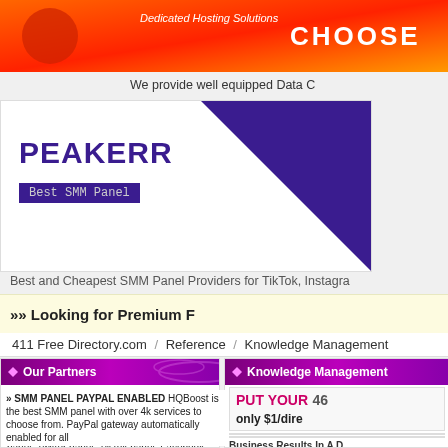[Figure (screenshot): Orange/red gradient top banner with 'CHOOSE' text and 'Dedicated Hosting Solutions' subtitle]
We provide well equipped Data C
[Figure (logo): PEAKERR Best SMM Panel logo on white background with purple triangle]
Best and Cheapest SMM Panel Providers for TikTok, Instagra
»» Looking for Premium F
411 Free Directory.com / Reference / Knowledge Management
Our Partners
Knowledge Management
» The Best SMM Panel Start From 0.001$ Soviivax SMM panel services are the best in 2022 and will help you succeed in social media by providing the cheapest Instagram panel, Twitter panel, TikTok panel, Facebook panel, Youtube panel, Telegram panel, and others.
PUT YOUR 46 only $1/dire
» SMM PANEL PAYPAL ENABLED HQBoost is the best SMM panel with over 4k services to choose from. PayPal gateway automatically enabled for all
Business Results In A D
Sep 16, 2021 | Knowledge Manageme